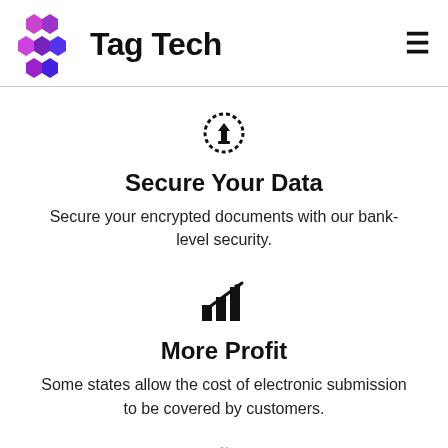Tag Tech
Secure Your Data
Secure your encrypted documents with our bank-level security.
More Profit
Some states allow the cost of electronic submission to be covered by customers.
Streamline Audits